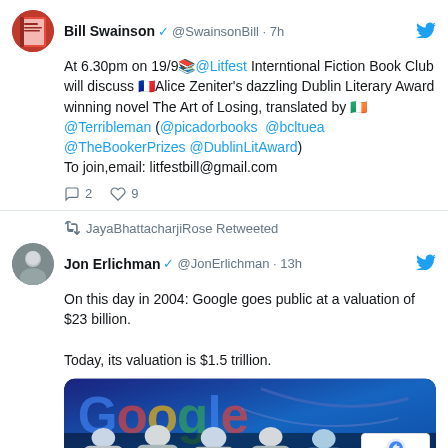Bill Swainson @SwainsonBill · 7h
At 6.30pm on 19/9📚@Litfest Interntional Fiction Book Club will discuss 🇫🇷Alice Zeniter's dazzling Dublin Literary Award winning novel The Art of Losing, translated by 🇮🇪 @Terribleman (@picadorbooks @bcltuea @TheBookerPrizes @DublinLitAward)
To join,email: litfestbill@gmail.com
2  9
JayaBhattacharjiRose Retweeted
Jon Erlichman @JonErlichman · 13h
On this day in 2004: Google goes public at a valuation of $23 billion.

Today, its valuation is $1.5 trillion.
[Figure (photo): Google-branded backdrop with people gathered at a public event, colorful Google logo letters visible in background, group of men in foreground smiling]